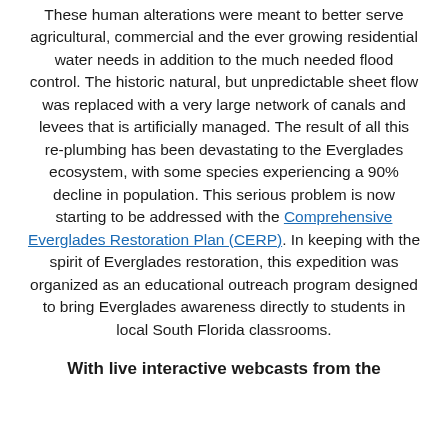These human alterations were meant to better serve agricultural, commercial and the ever growing residential water needs in addition to the much needed flood control. The historic natural, but unpredictable sheet flow was replaced with a very large network of canals and levees that is artificially managed. The result of all this re-plumbing has been devastating to the Everglades ecosystem, with some species experiencing a 90% decline in population. This serious problem is now starting to be addressed with the Comprehensive Everglades Restoration Plan (CERP). In keeping with the spirit of Everglades restoration, this expedition was organized as an educational outreach program designed to bring Everglades awareness directly to students in local South Florida classrooms.
With live interactive webcasts from the